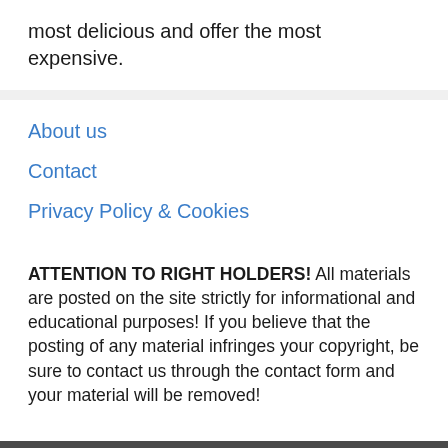most delicious and offer the most expensive.
About us
Contact
Privacy Policy & Cookies
ATTENTION TO RIGHT HOLDERS! All materials are posted on the site strictly for informational and educational purposes! If you believe that the posting of any material infringes your copyright, be sure to contact us through the contact form and your material will be removed!